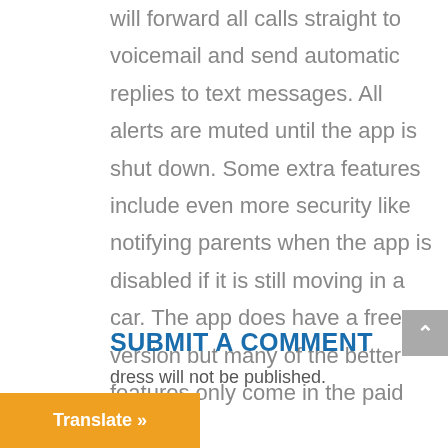will forward all calls straight to voicemail and send automatic replies to text messages. All alerts are muted until the app is shut down. Some extra features include even more security like notifying parents when the app is disabled if it is still moving in a car. The app does have a free version but many of the better features only come in the paid version.
SUBMIT A COMMENT
dress will not be published.